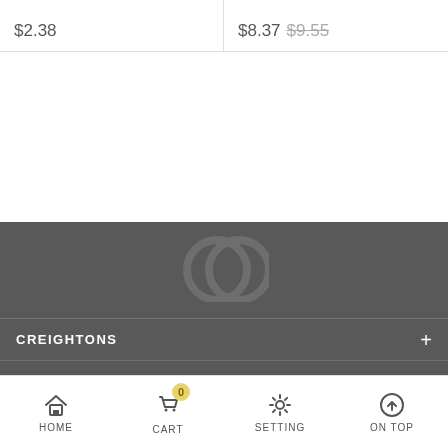$2.38
$8.37  $9.55
[Figure (illustration): Dark gray footer background with faint watermark logo (two overlapping circles/quotation marks shape) in the center]
CREIGHTONS +
CUSTOMER SERVICE +
HOME  CART 0  SETTING  ON TOP